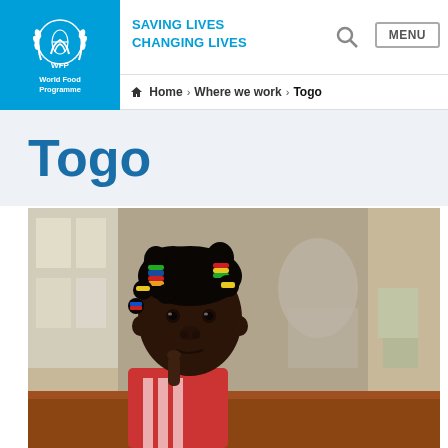WFP SAVING LIVES CHANGING LIVES | World Food Programme
Home > Where we work > Togo
Togo
[Figure (photo): A young African girl with colorful hair accessories (Rasta-style pom-poms in black/yellow/blue/red) looking to the side, sitting at what appears to be a school desk or table. Background is blurred showing a classroom environment.]